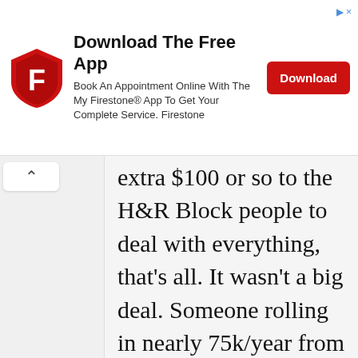[Figure (screenshot): Firestone app advertisement banner with shield logo, 'Download The Free App' title, description text, and red Download button]
extra $100 or so to the H&R Block people to deal with everything, that's all. It wasn't a big deal. Someone rolling in nearly 75k/year from an MLM can deffo afford that. I'm also confused by